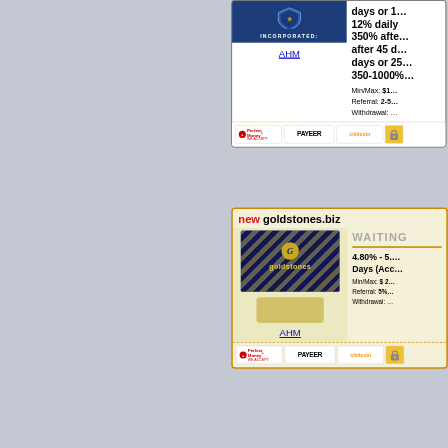[Figure (screenshot): Top investment listing card (partial) showing AHM logo with INCORPORATED text, blue header, AHM link, investment rates text: days or 1..., 12% daily, 350% after..., after 45 da..., days or 25..., 350-1000%..., Min/Max: $1..., Referral: 2-5..., Withdrawal:, and payment icons: Perfect Money, PAYEER, Bitcoin, lock icon]
[Figure (screenshot): Second investment listing card for goldstones.biz labeled 'new' in red, showing goldstones logo with diagonal stripes and G emblem, WAITING status text, rate 4.80% - 5.... Days (Acc..., Min/Max: $ 2..., Referral: 5%, Withdrawal:, AHM link, and payment icons: Perfect Money, PAYEER, Bitcoin, lock icon]